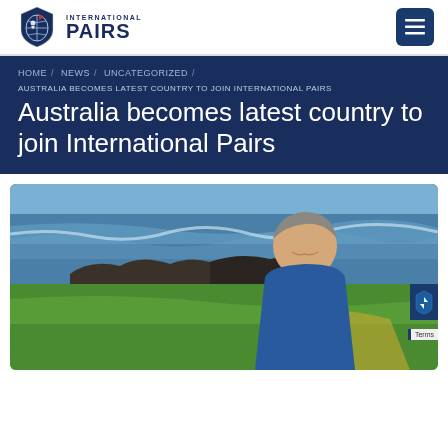International Pairs logo and navigation menu
HOME / NEWS / UNCATEGORIZED /
AUSTRALIA BECOMES LATEST COUNTRY TO JOIN INTERNATIONAL PAIRS
Australia becomes latest country to join International Pairs
[Figure (photo): Man in blue polo shirt with a coastal golf course and ocean in the background]